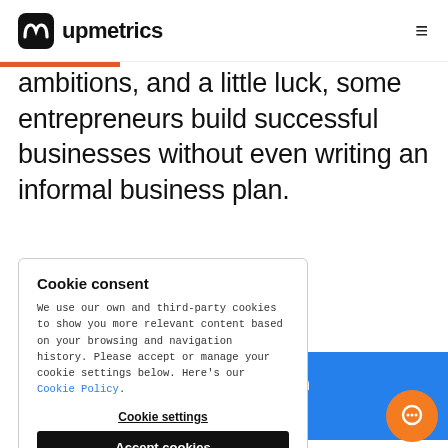upmetrics
ambitions, and a little luck, some entrepreneurs build successful businesses without even writing an informal business plan.
than those
business plan
n help?
e startup suc
inevitable? Definitely No
Cookie consent

We use our own and third-party cookies to show you more relevant content based on your browsing and navigation history. Please accept or manage your cookie settings below. Here's our Cookie Policy.

Cookie settings
Accept cookies